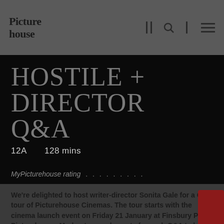Picturehouse
HOSTILE + DIRECTOR Q&A
12A    128 mins
MyPicturehouse rating . . . . . . . . .
We're delighted to host writer-director Sonita Gale for a Q&A tour of Picturehouse Cinemas. The tour starts with the cinema launch event on Friday 21 January at Finsbury Park Picturehouse. Moderators and guests for each Q&A to be confirmed.